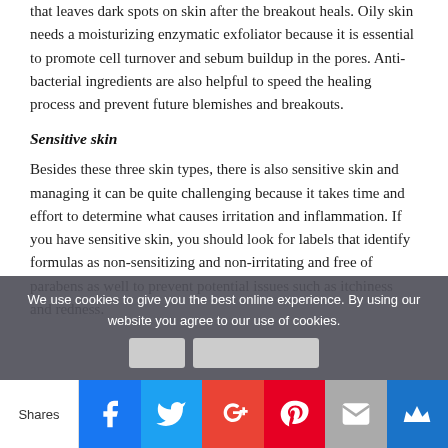that leaves dark spots on skin after the breakout heals. Oily skin needs a moisturizing enzymatic exfoliator because it is essential to promote cell turnover and sebum buildup in the pores. Anti-bacterial ingredients are also helpful to speed the healing process and prevent future blemishes and breakouts.
Sensitive skin
Besides these three skin types, there is also sensitive skin and managing it can be quite challenging because it takes time and effort to determine what causes irritation and inflammation. If you have sensitive skin, you should look for labels that identify formulas as non-sensitizing and non-irritating and free of parabens as well to prevent potential issues such as itchiness and redness.
We use cookies to give you the best online experience. By using our website you agree to our use of cookies.
Shares